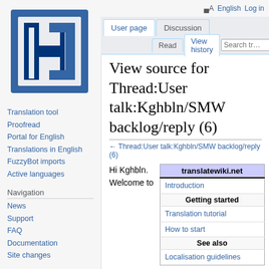[Figure (logo): TranslateWiki logo — blue H-shaped letter in a square bracket icon]
Translation tool
Proofread
Portal for English
Translations in English
FuzzyBot imports
Active languages
Navigation
News
Support
FAQ
Documentation
Site changes
English  Log in
View source for Thread:User talk:Kghbln/SMW backlog/reply (6)
← Thread:User talk:Kghbln/SMW backlog/reply (6)
Hi Kghbln. Welcome to
| translatewiki.net |
| --- |
| Introduction |
| Getting started |
| Translation tutorial |
| How to start |
| See also |
| Localisation guidelines |